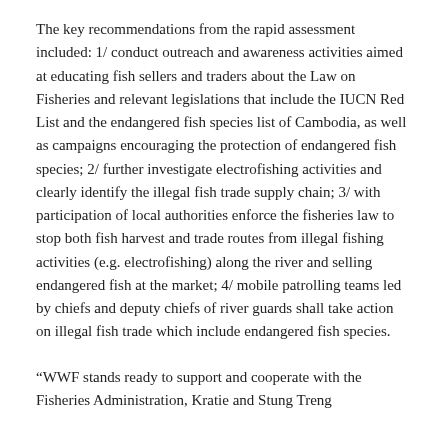The key recommendations from the rapid assessment included: 1/ conduct outreach and awareness activities aimed at educating fish sellers and traders about the Law on Fisheries and relevant legislations that include the IUCN Red List and the endangered fish species list of Cambodia, as well as campaigns encouraging the protection of endangered fish species; 2/ further investigate electrofishing activities and clearly identify the illegal fish trade supply chain; 3/ with participation of local authorities enforce the fisheries law to stop both fish harvest and trade routes from illegal fishing activities (e.g. electrofishing) along the river and selling endangered fish at the market; 4/ mobile patrolling teams led by chiefs and deputy chiefs of river guards shall take action on illegal fish trade which include endangered fish species.
“WWF stands ready to support and cooperate with the Fisheries Administration, Kratie and Stung Treng